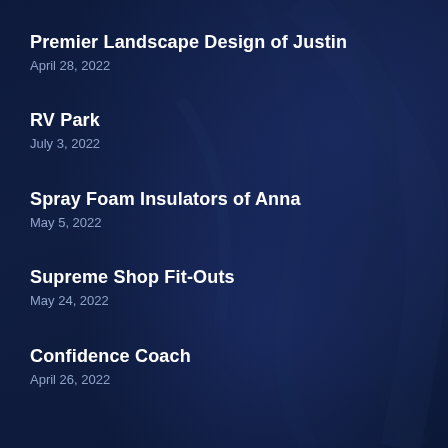Premier Landscape Design of Justin
April 28, 2022
RV Park
July 3, 2022
Spray Foam Insulators of Anna
May 5, 2022
Supreme Shop Fit-Outs
May 24, 2022
Confidence Coach
April 26, 2022